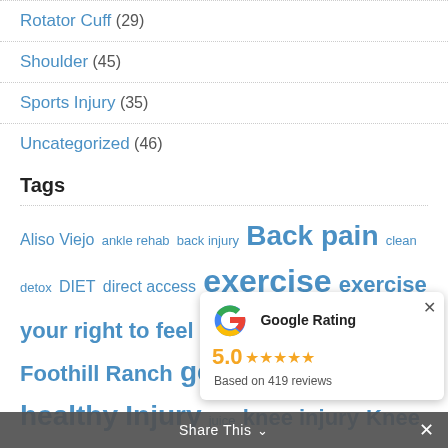Rotator Cuff (29)
Shoulder (45)
Sports Injury (35)
Uncategorized (46)
Tags
Aliso Viejo ankle rehab back injury Back pain clean detox DIET direct access exercise exercise your right to feel better feel better Foothill Ranch get fit getpt healthy Injury juice knee injury Knee Pain Laguna Hills Laguna... low back pain Missi... prescription pain phy... Therapy Aliso Viejo Physica... Therapy Orange Portola Hills pt rehab rehabilitation
[Figure (screenshot): Google Rating popup showing 5.0 stars based on 419 reviews]
Share This